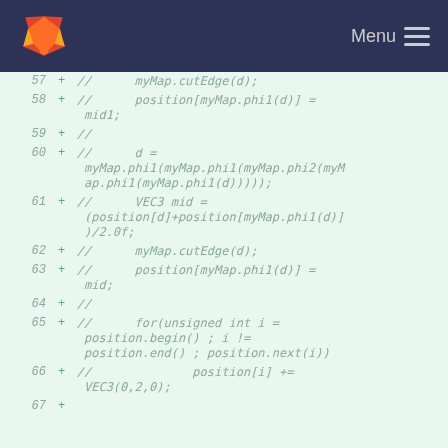Menu
57 + //        myMap.cutEdge(d);
58 + //        position[myMap.phi1(d)] = mid1;
59 + //
60 + //        d = myMap.phi1(myMap.phi1(myMap.phi2(myMap.phi1(myMap.phi1(d)))));
61 + //        VEC3 mid = (position[d]+position[myMap.phi1(d)])/2.0f;
62 + //        myMap.cutEdge(d);
63 + //        position[myMap.phi1(d)] = mid;
64 + //
65 + //        for(unsigned int i = position.begin() ; i != position.end() ; position.next(i))
66 + //                position[i] += VEC3(0,2,0);
67 +